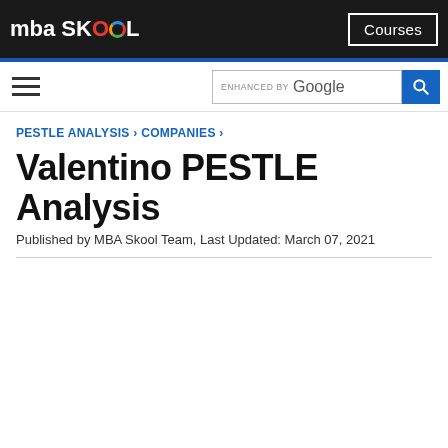mba SKOOL | Courses
ENHANCED BY Google [search bar]
PESTLE ANALYSIS › COMPANIES ›
Valentino PESTLE Analysis
Published by MBA Skool Team, Last Updated: March 07, 2021